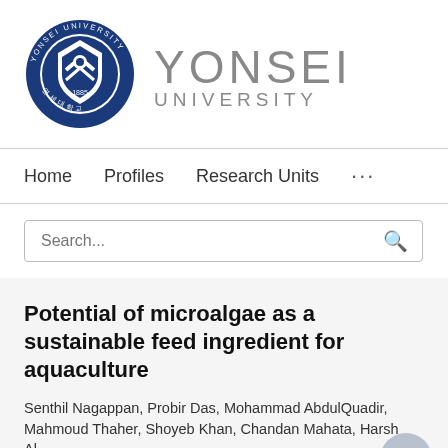[Figure (logo): Yonsei University logo: circular seal in dark blue with shield and Korean characters, alongside 'YONSEI UNIVERSITY' text in grey]
Home   Profiles   Research Units   ...
Search...
Potential of microalgae as a sustainable feed ingredient for aquaculture
Senthil Nagappan, Probir Das, Mohammad AbdulQuadir, Mahmoud Thaher, Shoyeb Khan, Chandan Mahata, Harsh Al...